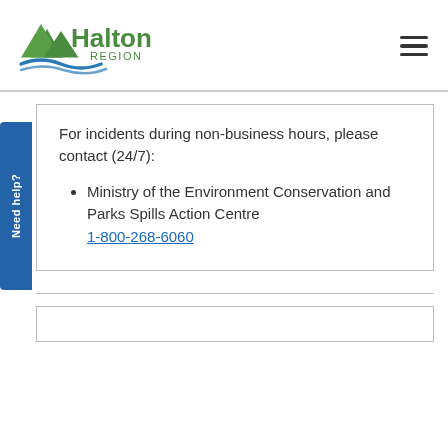[Figure (logo): Halton Region logo with green mountains/hills graphic and blue wave, text reads 'Halton REGION']
For incidents during non-business hours, please contact (24/7):
Ministry of the Environment Conservation and Parks Spills Action Centre 1-800-268-6060